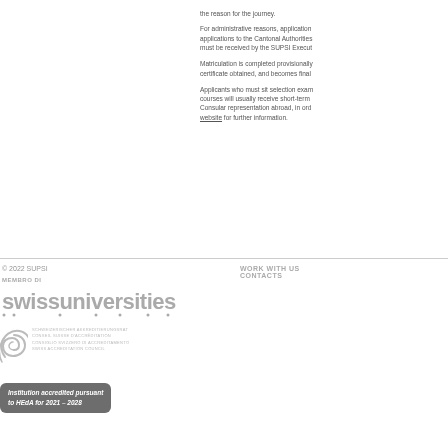the reason for the journey.
For administrative reasons, applications to the Cantonal Authorities must be received by the SUPSI Execut...
Matriculation is completed provisionally certificate obtained, and becomes final...
Applicants who must sit selection exams courses will usually receive short-term Consular representation abroad, in ord... website for further information.
© 2022 SUPSI
MEMBRO DI
[Figure (logo): swissuniversities logo]
[Figure (logo): Swiss Accreditation Council logo with accreditation badge: Institution accredited pursuant to HEdA for 2021 - 2028]
WORK WITH US
CONTACTS